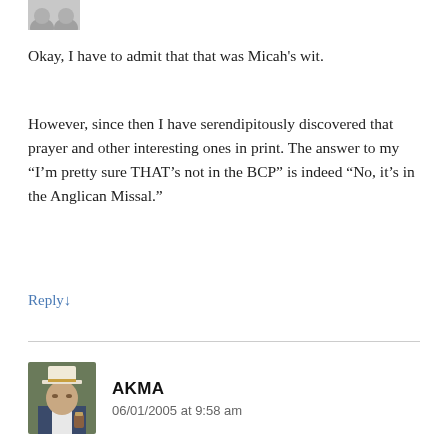[Figure (photo): Partially visible avatar/profile image at top left, cropped]
Okay, I have to admit that that was Micah's wit.
However, since then I have serendipitously discovered that prayer and other interesting ones in print. The answer to my “I’m pretty sure THAT’s not in the BCP” is indeed “No, it’s in the Anglican Missal.”
Reply ↓
[Figure (photo): Profile photo of AKMA, a person wearing a white hat, holding a drink]
AKMA
06/01/2005 at 9:58 am
David: Now that’s what online church marketing is all about. Maybe we can inspire a run on Angelus; is there any risk of an [artificial] shortage? Maybe people should order